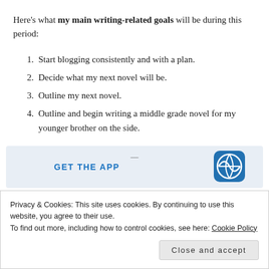Here’s what my main writing-related goals will be during this period:
1. Start blogging consistently and with a plan.
2. Decide what my next novel will be.
3. Outline my next novel.
4. Outline and begin writing a middle grade novel for my younger brother on the side.
[Figure (screenshot): App banner with WordPress logo and GET THE APP text in blue]
Privacy & Cookies: This site uses cookies. By continuing to use this website, you agree to their use.
To find out more, including how to control cookies, see here: Cookie Policy
Close and accept